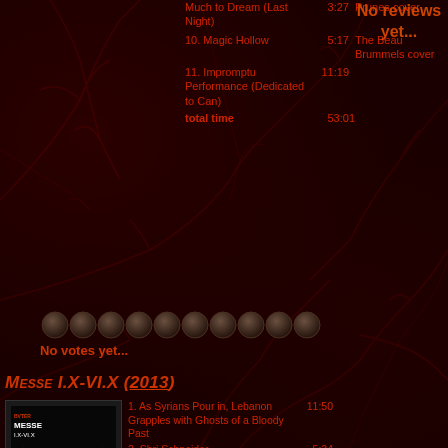Much to Dream (Last Night) 3:27 Prunes cover
10. Magic Hollow 5:17 The Beau Brummels cover
11. Impromptu Performance (Dedicated to Can) 11:19
total time 53:01
[Figure (other): Rating stars row - 10 circular coin-like icons, all unfilled/dark]
No votes yet...
No reviews yet...
Messe I.X-VI.X (2013)
[Figure (photo): Album cover for Messe I.X-VI.X - black and white image of a woman's face with text overlay]
1. As Syrians Pour in, Lebanon Grapples with Ghosts of a Bloody Past 11:50
2. Shri Schneider 5:34
3. Glamour Box (Ostinati) 6:10
4. Son of Man 6:23
5. Noche Oscura del Alma 5:25
6. Mother of Mercy 7:22
total time 44:44
HD cover
[Figure (other): Rating stars row - 10 circular pearl-like icons, 9 filled and 1 dark/empty]
8.5 / 10 (2 votes)
No reviews yet...
Terrestrials (with Sunn 0)))) (2014)
1. Let There Be Light 11:41
2. Western Horn 9:51
3. Eternal Return 14:29
[Figure (photo): Album cover for Terrestrials - red/orange geometric design]